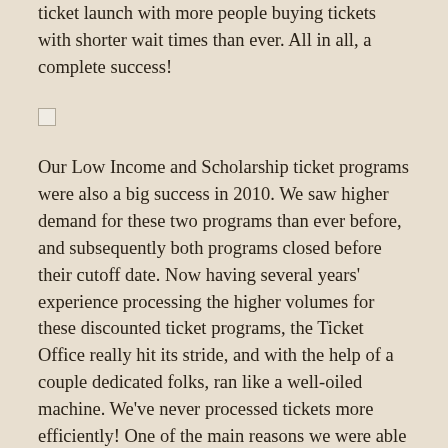ticket launch with more people buying tickets with shorter wait times than ever. All in all, a complete success!
[Figure (other): Small white checkbox/square graphic]
Our Low Income and Scholarship ticket programs were also a big success in 2010. We saw higher demand for these two programs than ever before, and subsequently both programs closed before their cutoff date. Now having several years' experience processing the higher volumes for these discounted ticket programs, the Ticket Office really hit its stride, and with the help of a couple dedicated folks, ran like a well-oiled machine. We've never processed tickets more efficiently! One of the main reasons we were able to get into this groove was because in addition to our indispensable volunteer help we were also able to bring on a part-time Ticketing Assistant to help with glamorous tasks